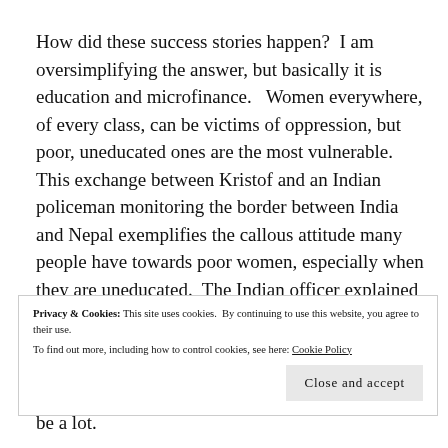How did these success stories happen?  I am oversimplifying the answer, but basically it is education and microfinance.   Women everywhere, of every class, can be victims of oppression, but poor, uneducated ones are the most vulnerable.   This exchange between Kristof and an Indian policeman monitoring the border between India and Nepal exemplifies the callous attitude many people have towards poor women, especially when they are uneducated.  The Indian officer explained to Kristof that he was looking for terrorists
Privacy & Cookies: This site uses cookies.  By continuing to use this website, you agree to their use.
To find out more, including how to control cookies, see here: Cookie Policy
be a lot.